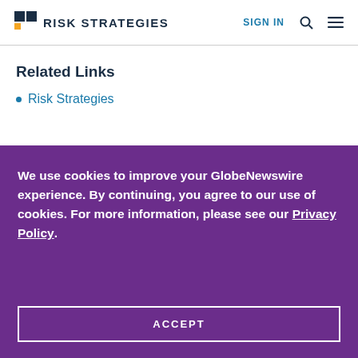RISK STRATEGIES | SIGN IN
Related Links
Risk Strategies
We use cookies to improve your GlobeNewswire experience. By continuing, you agree to our use of cookies. For more information, please see our Privacy Policy.
ACCEPT